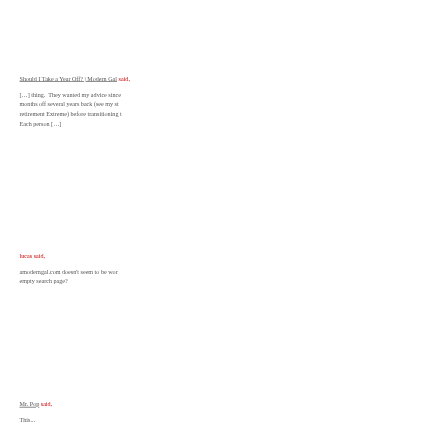Should I Take a Year Off? | Modern Gal said,
[…] thing.  They wanted my advice since months off several years back (see my st retirement Extreme) before transitioning t Each person […]
lucas said,
amoderngal.com doesn't seem to be wor empty search page?
Mr. Pop said,
This... (truncated)